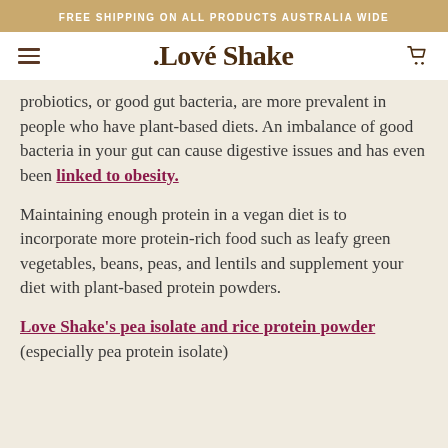FREE SHIPPING ON ALL PRODUCTS AUSTRALIA WIDE
[Figure (logo): Love Shake logo with navigation hamburger menu and cart icon]
probiotics, or good gut bacteria, are more prevalent in people who have plant-based diets. An imbalance of good bacteria in your gut can cause digestive issues and has even been linked to obesity.
Maintaining enough protein in a vegan diet is to incorporate more protein-rich food such as leafy green vegetables, beans, peas, and lentils and supplement your diet with plant-based protein powders.
Love Shake's pea isolate and rice protein powder (especially pea protein isolate)